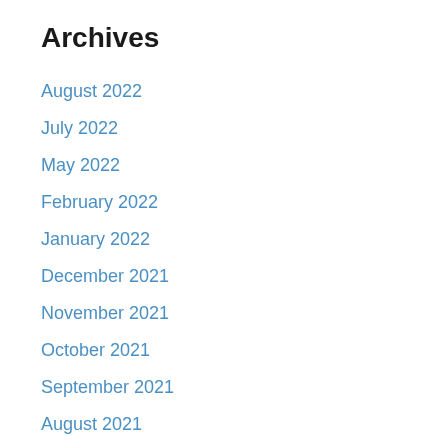Archives
August 2022
July 2022
May 2022
February 2022
January 2022
December 2021
November 2021
October 2021
September 2021
August 2021
July 2021
June 2021
May 2021